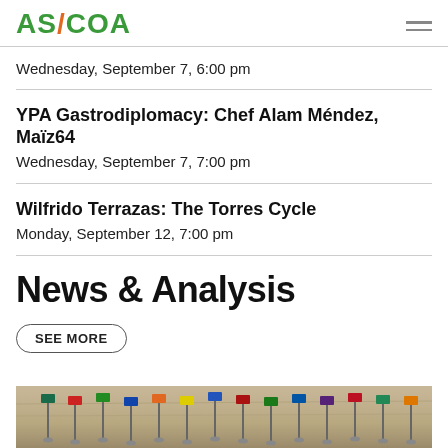AS/COA
Wednesday, September 7, 6:00 pm
YPA Gastrodiplomacy: Chef Alam Méndez, Maïz64
Wednesday, September 7, 7:00 pm
Wilfrido Terrazas: The Torres Cycle
Monday, September 12, 7:00 pm
News & Analysis
SEE MORE
[Figure (photo): Partial view of a table surface with a row of small international flags on poles in the background]